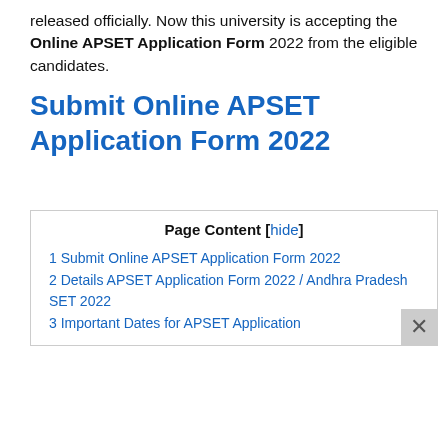released officially. Now this university is accepting the Online APSET Application Form 2022 from the eligible candidates.
Submit Online APSET Application Form 2022
| Page Content [hide] |
| 1 Submit Online APSET Application Form 2022 |
| 2 Details APSET Application Form 2022 / Andhra Pradesh SET 2022 |
| 3 Important Dates for APSET Application |